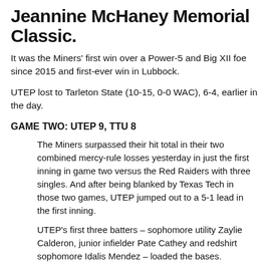Jeannine McHaney Memorial Classic.
It was the Miners' first win over a Power-5 and Big XII foe since 2015 and first-ever win in Lubbock.
UTEP lost to Tarleton State (10-15, 0-0 WAC), 6-4, earlier in the day.
GAME TWO: UTEP 9, TTU 8
The Miners surpassed their hit total in their two combined mercy-rule losses yesterday in just the first inning in game two versus the Red Raiders with three singles. And after being blanked by Texas Tech in those two games, UTEP jumped out to a 5-1 lead in the first inning.
UTEP's first three batters – sophomore utility Zaylie Calderon, junior infielder Pate Cathey and redshirt sophomore Idalis Mendez – loaded the bases.
Junior infielder Kasey Flores forced a walk to bring home her first RBI and the Miners' first run of the day. 1-0. Freshman